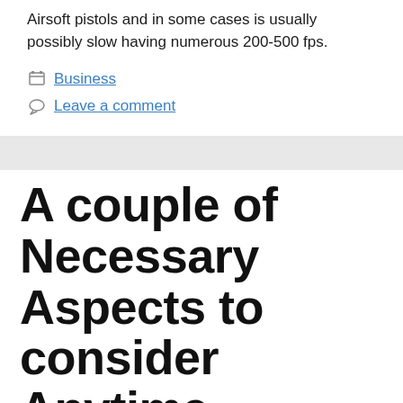Airsoft pistols and in some cases is usually possibly slow having numerous 200-500 fps.
Business
Leave a comment
A couple of Necessary Aspects to consider Anytime Finding some sort of On line Online casino
March 12, 2022 by admin